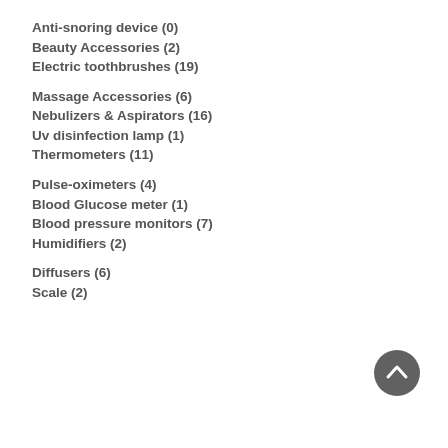Anti-snoring device (0)
Beauty Accessories (2)
Electric toothbrushes (19)
Massage Accessories (6)
Nebulizers & Aspirators (16)
Uv disinfection lamp (1)
Thermometers (11)
Pulse-oximeters (4)
Blood Glucose meter (1)
Blood pressure monitors (7)
Humidifiers (2)
Diffusers (6)
Scale (2)
[Figure (other): Dark grey circular back-to-top button with upward chevron arrow icon]